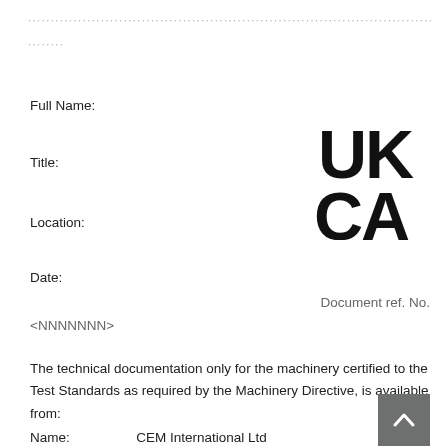............................................................................................................
........
Full Name:
[Figure (logo): UKCA conformity marking logo — black bold letters 'UK' on top line and 'CA' on bottom line in a square-rounded block style]
Title:
Location:
Date:
Document ref. No. <NNNNNNN>
The technical documentation only for the machinery certified to the Test Standards as required by the Machinery Directive, is available from:
Name:      CEM International Ltd
Address:   Westmead House, Westmead, Farnborough,